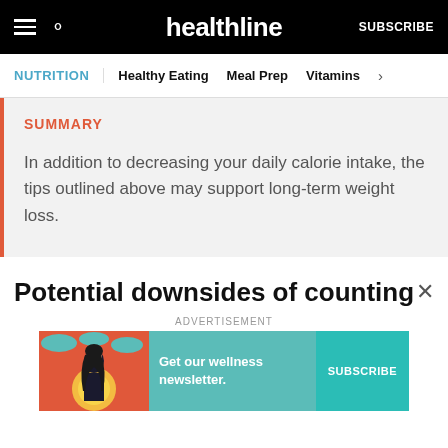healthline | SUBSCRIBE
NUTRITION | Healthy Eating  Meal Prep  Vitamins >
SUMMARY

In addition to decreasing your daily calorie intake, the tips outlined above may support long-term weight loss.
Potential downsides of counting
[Figure (infographic): Advertisement banner showing a wellness newsletter subscription offer with a cartoon woman, teal background, and a Subscribe button.]